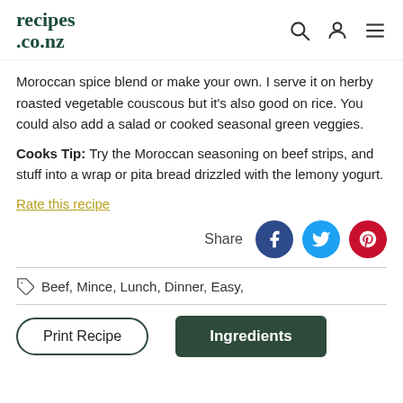recipes.co.nz
Moroccan spice blend or make your own. I serve it on herby roasted vegetable couscous but it's also good on rice. You could also add a salad or cooked seasonal green veggies.
Cooks Tip: Try the Moroccan seasoning on beef strips, and stuff into a wrap or pita bread drizzled with the lemony yogurt.
Rate this recipe
Share
Beef, Mince, Lunch, Dinner, Easy,
Print Recipe
Ingredients